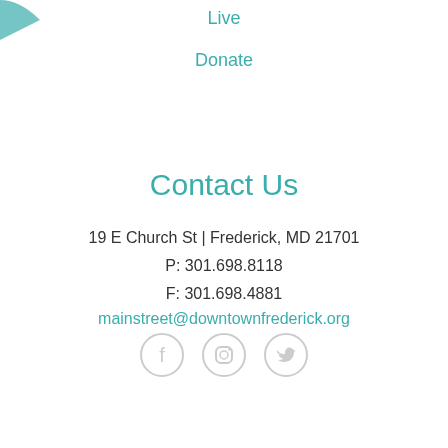Live
Donate
Contact Us
19 E Church St | Frederick, MD 21701
P: 301.698.8118
F: 301.698.4881
mainstreet@downtownfrederick.org
[Figure (infographic): Three circular social media icons: Facebook, Instagram, Twitter, in light gray circles]